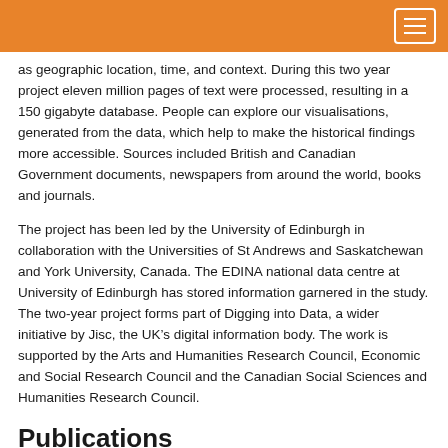as geographic location, time, and context. During this two year project eleven million pages of text were processed, resulting in a 150 gigabyte database. People can explore our visualisations, generated from the data, which help to make the historical findings more accessible. Sources included British and Canadian Government documents, newspapers from around the world, books and journals.
The project has been led by the University of Edinburgh in collaboration with the Universities of St Andrews and Saskatchewan and York University, Canada. The EDINA national data centre at University of Edinburgh has stored information garnered in the study. The two-year project forms part of Digging into Data, a wider initiative by Jisc, the UK’s digital information body. The work is supported by the Arts and Humanities Research Council, Economic and Social Research Council and the Canadian Social Sciences and Humanities Research Council.
Publications